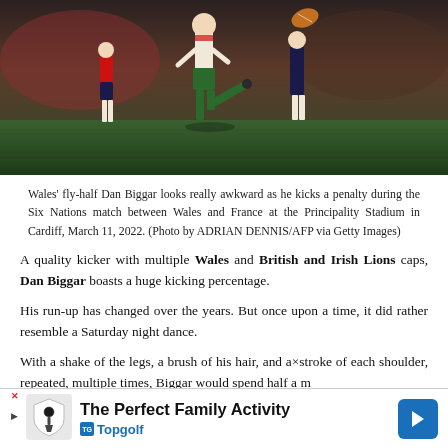[Figure (photo): Rugby player (Wales fly-half Dan Biggar) kicking a penalty during a Six Nations match, players in red and dark jerseys visible, stadium background]
Wales' fly-half Dan Biggar looks really awkward as he kicks a penalty during the Six Nations match between Wales and France at the Principality Stadium in Cardiff, March 11, 2022. (Photo by ADRIAN DENNIS/AFP via Getty Images)
A quality kicker with multiple Wales and British and Irish Lions caps, Dan Biggar boasts a huge kicking percentage.
His run-up has changed over the years. But once upon a time, it did rather resemble a Saturday night dance.
With a shake of the legs, a brush of his hair, and a×stroke of each shoulder, repeated, multiple times, Biggar would spend half a m...
[Figure (other): Advertisement banner: The Perfect Family Activity - Topgolf]